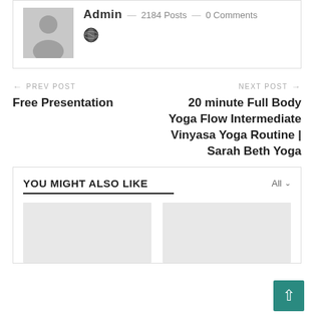[Figure (photo): Author avatar placeholder (gray silhouette icon)]
Admin — 2184 Posts — 0 Comments
[Figure (illustration): Globe/world icon]
← PREV POST
Free Presentation
NEXT POST →
20 minute Full Body Yoga Flow Intermediate Vinyasa Yoga Routine | Sarah Beth Yoga
YOU MIGHT ALSO LIKE
[Figure (photo): Placeholder image card 1 (light gray)]
[Figure (photo): Placeholder image card 2 (light gray)]